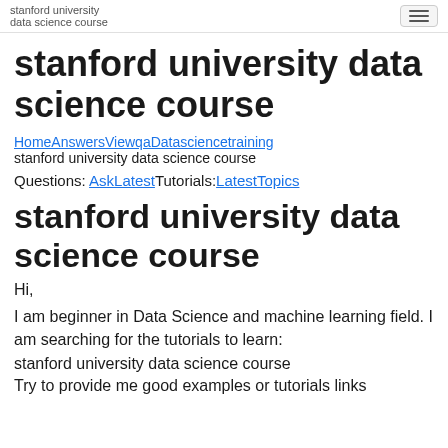stanford university data science course
stanford university data science course
HomeAnswersViewqaDatasciencetraining
stanford university data science course
Questions: AskLatestTutorials:LatestTopics
stanford university data science course
Hi,
I am beginner in Data Science and machine learning field. I am searching for the tutorials to learn:
stanford university data science course
Try to provide me good examples or tutorials links